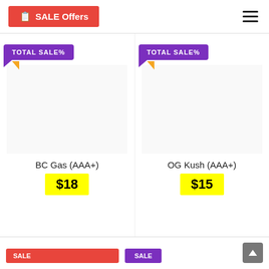SALE Offers
[Figure (infographic): Two product listing cards side by side. Left card: purple 'TOTAL SALE%' badge with orange arrow tail, product image area, name 'BC Gas (AAA+)', price '$18' in yellow. Right card: purple 'TOTAL SALE%' badge, product image area, name 'OG Kush (AAA+)', price '$15' in yellow.]
BC Gas (AAA+)
$18
OG Kush (AAA+)
$15